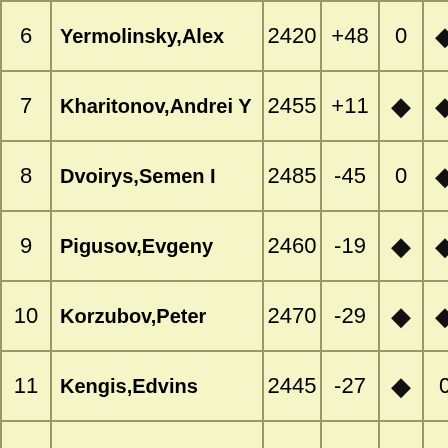| # | Name | Rating | Change | R1 | R2 | R3 | R4 |
| --- | --- | --- | --- | --- | --- | --- | --- |
| 6 | Yermolinsky,Alex | 2420 | +48 | 0 | ◆ | ◆ | ◆ |
| 7 | Kharitonov,Andrei Y | 2455 | +11 | ◆ | ◆ | 0 | ◆ |
| 8 | Dvoirys,Semen I | 2485 | -45 | 0 | ◆ | ◆ | 1 |
| 9 | Pigusov,Evgeny | 2460 | -19 | ◆ | ◆ | 0 | ◆ |
| 10 | Korzubov,Peter | 2470 | -29 | ◆ | ◆ | 0 | 1 |
| 11 | Kengis,Edvins | 2445 | -27 | ◆ | 0 | ◆ | ◆ |
| 12 | Aseev,Konstantin N | 2390 | +31 | 0 | ◆ | 1 | 0 |